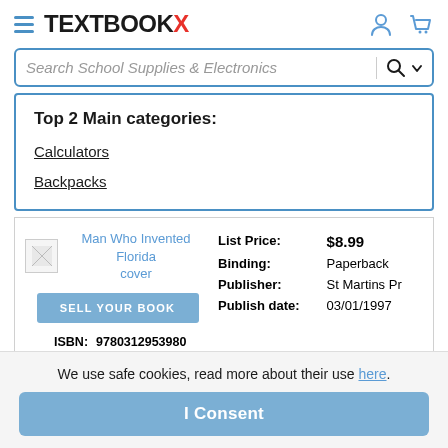TEXTBOOKX
Search School Supplies & Electronics
Top 2 Main categories:
Calculators
Backpacks
[Figure (screenshot): Book cover placeholder image for Man Who Invented Florida]
Man Who Invented Florida cover
SELL YOUR BOOK
| Field | Value |
| --- | --- |
| List Price: | $8.99 |
| Binding: | Paperback |
| Publisher: | St Martins Pr |
| Publish date: | 03/01/1997 |
| ISBN: | 9780312953980 |
| ISBN10: | 0312953984 |
We use safe cookies, read more about their use here.
I Consent